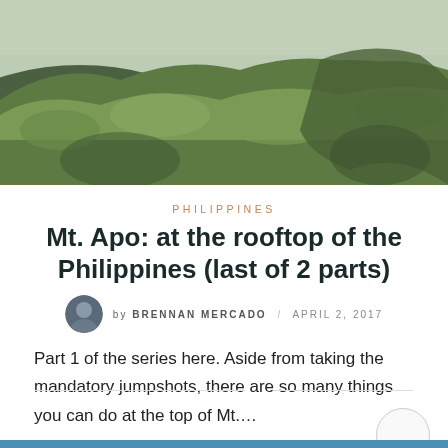[Figure (photo): Aerial/landscape photo of green mossy mountain slopes with mist and fog, taken at high altitude likely Mt. Apo, Philippines]
PHILIPPINES
Mt. Apo: at the rooftop of the Philippines (last of 2 parts)
by BRENNAN MERCADO / APRIL 2, 2017
Part 1 of the series here. Aside from taking the mandatory jumpshots, there are so many things you can do at the top of Mt....